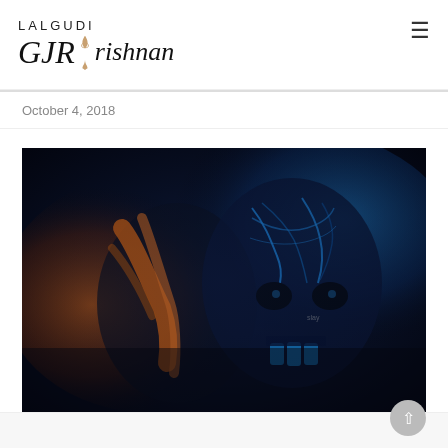LALGUDI GJR Krishnan
October 4, 2018
[Figure (photo): Two faces with dramatic blue and orange body/face paint, one side with cracked skeletal design in blue light, the other with flowing orange/golden streaks, dark background. Artistic, theatrical makeup photography.]